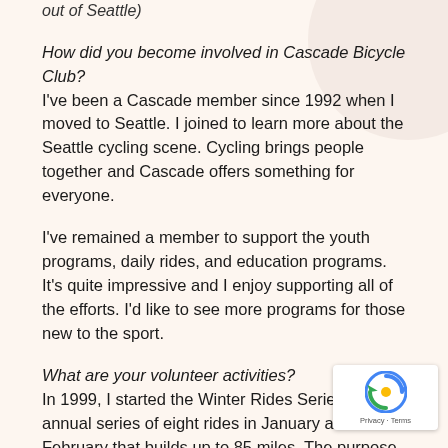out of Seattle)
How did you become involved in Cascade Bicycle Club? I've been a Cascade member since 1992 when I moved to Seattle. I joined to learn more about the Seattle cycling scene. Cycling brings people together and Cascade offers something for everyone.
I've remained a member to support the youth programs, daily rides, and education programs. It's quite impressive and I enjoy supporting all of the efforts. I'd like to see more programs for those new to the sport.
What are your volunteer activities? In 1999, I started the Winter Rides Series – an annual series of eight rides in January and February that builds up to 85 miles. The purpose of the series is to explore different areas around Seattle. We ride as far south as Renton, as far east as North Bend, west to Port [truncated]
[Figure (other): Google reCAPTCHA badge overlay in bottom-right corner showing a circular arrow logo and 'Privacy - Terms' text]